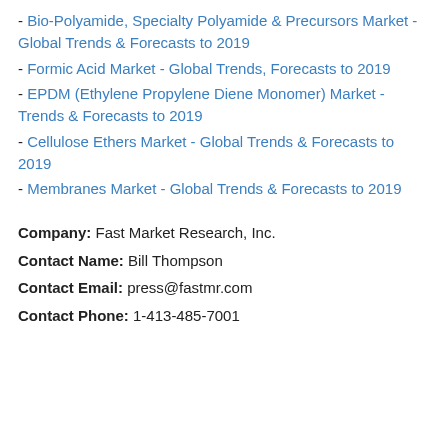- Bio-Polyamide, Specialty Polyamide & Precursors Market - Global Trends & Forecasts to 2019
- Formic Acid Market - Global Trends, Forecasts to 2019
- EPDM (Ethylene Propylene Diene Monomer) Market - Trends & Forecasts to 2019
- Cellulose Ethers Market - Global Trends & Forecasts to 2019
- Membranes Market - Global Trends & Forecasts to 2019
Company: Fast Market Research, Inc.
Contact Name: Bill Thompson
Contact Email: press@fastmr.com
Contact Phone: 1-413-485-7001